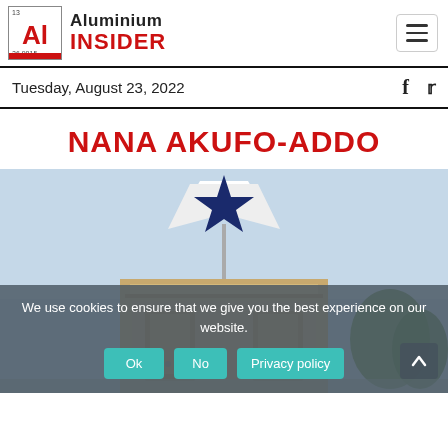Aluminium INSIDER
Tuesday, August 23, 2022
NANA AKUFO-ADDO
[Figure (photo): Photo of a monument or building with a dark blue star on top, light blue sky background. Cookie consent overlay at the bottom with Ok, No, Privacy policy buttons.]
We use cookies to ensure that we give you the best experience on our website.